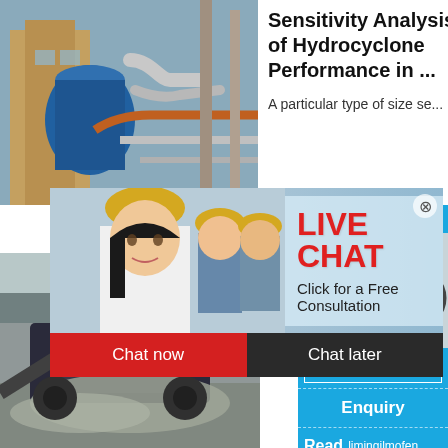[Figure (photo): Industrial equipment with pipes and blue cylindrical vessel]
Sensitivity Analysis of Hydrocyclone Performance in ...
A particular type of size se...
[Figure (photo): Live Chat banner with workers in yellow hard hats and red LIVE CHAT text, plus Chat now and Chat later buttons]
[Figure (photo): Mining/crushing equipment on a dusty site]
hydroc cyclone slurry c
Hydrocyc...
[Figure (photo): Blue sidebar panel with hour online text, crusher machine image, Click me to chat>> button, Enquiry, and Read limingjlmofen]
hour online
Click me to chat>>
Enquiry
Read limingjlmofen